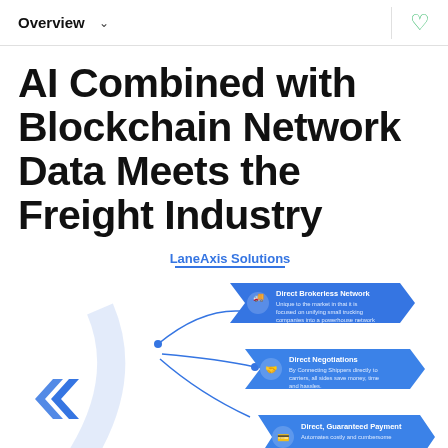Overview
AI Combined with Blockchain Network Data Meets the Freight Industry
[Figure (infographic): LaneAxis Solutions infographic showing three blue arrow/chevron boxes: 1) Direct Brokerless Network - Unique to the market in that it is focused on unifying small trucking companies into a powerhouse network. 2) Direct Negotiations - By Connecting Shippers directly to carriers, all sides save money, time and hassles. 3) Direct, Guaranteed Payment - Automates costly and cumbersome... A large blue X logo with connecting lines is shown at the bottom left.]